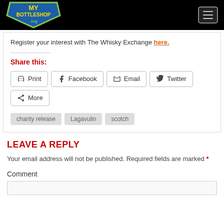My Bottleshop [logo] [hamburger menu]
Register your interest with The Whisky Exchange here.
Share this:
Print
Facebook
Email
Twitter
More
charity release
Lagavulin
scotch
LEAVE A REPLY
Your email address will not be published. Required fields are marked *
Comment